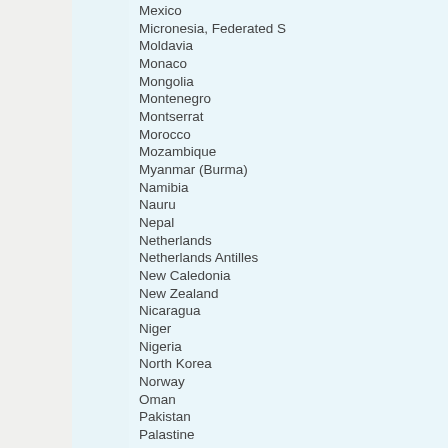Mexico
Micronesia, Federated S
Moldavia
Monaco
Mongolia
Montenegro
Montserrat
Morocco
Mozambique
Myanmar (Burma)
Namibia
Nauru
Nepal
Netherlands
Netherlands Antilles
New Caledonia
New Zealand
Nicaragua
Niger
Nigeria
North Korea
Norway
Oman
Pakistan
Palastine
Palau
Panama
Papua New Guinea
Paraguay
Peru
Philippines
Poland